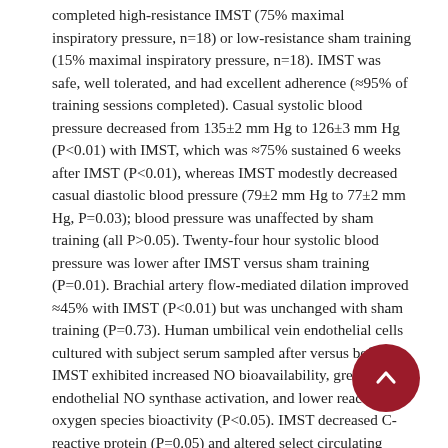completed high-resistance IMST (75% maximal inspiratory pressure, n=18) or low-resistance sham training (15% maximal inspiratory pressure, n=18). IMST was safe, well tolerated, and had excellent adherence (≈95% of training sessions completed). Casual systolic blood pressure decreased from 135±2 mm Hg to 126±3 mm Hg (P<0.01) with IMST, which was ≈75% sustained 6 weeks after IMST (P<0.01), whereas IMST modestly decreased casual diastolic blood pressure (79±2 mm Hg to 77±2 mm Hg, P=0.03); blood pressure was unaffected by sham training (all P>0.05). Twenty-four hour systolic blood pressure was lower after IMST versus sham training (P=0.01). Brachial artery flow-mediated dilation improved ≈45% with IMST (P<0.01) but was unchanged with sham training (P=0.73). Human umbilical vein endothelial cells cultured with subject serum sampled after versus before IMST exhibited increased NO bioavailability, greater endothelial NO synthase activation, and lower reactive oxygen species bioactivity (P<0.05). IMST decreased C-reactive protein (P=0.05) and altered select circulating metabolites (targeted plasma metabolomics) associated with cardiovascular function. Neither IMST nor sham training influenced arterial stiffness (P>0.05). CONCLUSIONS: High-resistance IMST is a safe, highly adherable lifestyle intervention for improving blood pressure and endothelial